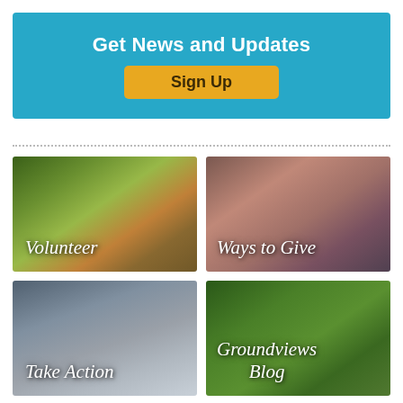Get News and Updates
Sign Up
[Figure (photo): Volunteer banner with outdoor garden volunteers smiling]
[Figure (photo): Ways to Give banner with two smiling children]
[Figure (photo): Take Action banner with government building capitol]
[Figure (photo): Groundviews Blog banner with person lying on green grass]